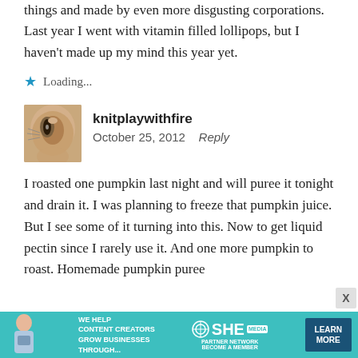things and made by even more disgusting corporations. Last year I went with vitamin filled lollipops, but I haven't made up my mind this year yet.
★ Loading...
knitplaywithfire
October 25, 2012   Reply
[Figure (photo): Avatar photo of a cat, close-up of one eye and face]
I roasted one pumpkin last night and will puree it tonight and drain it. I was planning to freeze that pumpkin juice. But I see some of it turning into this. Now to get liquid pectin since I rarely use it. And one more pumpkin to roast. Homemade pumpkin puree
[Figure (infographic): SHE Media partner network advertisement banner with teal background. Text: WE HELP CONTENT CREATORS GROW BUSINESSES THROUGH... SHE PARTNER NETWORK BECOME A MEMBER. LEARN MORE button.]